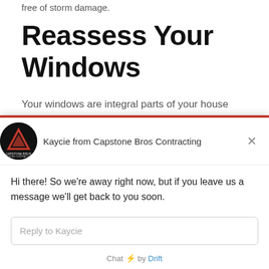free of storm damage.
Reassess Your Windows
Your windows are integral parts of your house that are important to protect at all times of the year. During storm season in the Midwest, we know that windows are susceptible to damage from severe
[Figure (screenshot): Drift chat widget overlay showing avatar of Capstone Bros Contracting, agent name Kaycie from Capstone Bros Contracting, close button, away message, reply input field, and Chat by Drift footer]